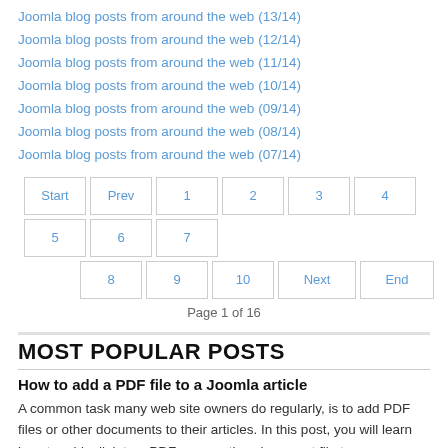Joomla blog posts from around the web (13/14)
Joomla blog posts from around the web (12/14)
Joomla blog posts from around the web (11/14)
Joomla blog posts from around the web (10/14)
Joomla blog posts from around the web (09/14)
Joomla blog posts from around the web (08/14)
Joomla blog posts from around the web (07/14)
Start Prev 1 2 3 4 5 6 7 8 9 10 Next End
Page 1 of 16
MOST POPULAR POSTS
How to add a PDF file to a Joomla article
A common task many web site owners do regularly, is to add PDF files or other documents to their articles. In this post, you will learn how to add a link to a PDF or any other document file to a...
in Joomla core tutorials Read more...